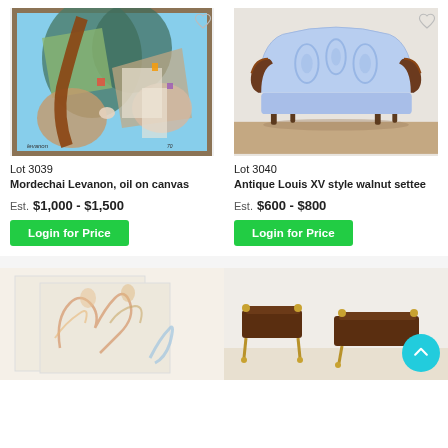[Figure (photo): Abstract oil painting in frame, colorful blues greens browns]
[Figure (photo): Antique Louis XV style walnut settee with blue paisley upholstery]
Lot 3039
Mordechai Levanon, oil on canvas
Est.  $1,000 - $1,500
Login for Price
Lot 3040
Antique Louis XV style walnut settee
Est.  $600 - $800
Login for Price
[Figure (photo): Sketch or print showing figures on cream/beige background]
[Figure (photo): Antique side tables or luggage stands with dark tops and brass legs]